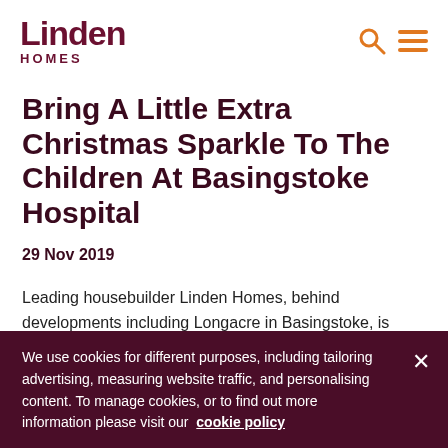Linden Homes
Bring A Little Extra Christmas Sparkle To The Children At Basingstoke Hospital
29 Nov 2019
Leading housebuilder Linden Homes, behind developments including Longacre in Basingstoke, is inviting local schools,
We use cookies for different purposes, including tailoring advertising, measuring website traffic, and personalising content. To manage cookies, or to find out more information please visit our  cookie policy